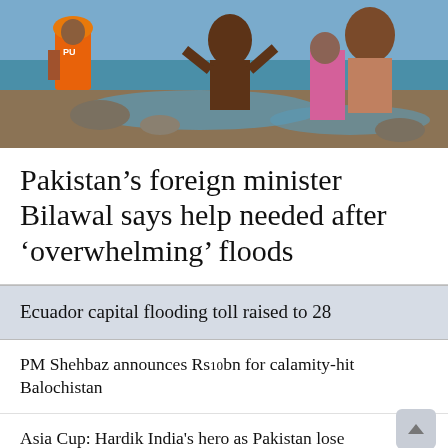[Figure (photo): Flood rescue scene showing workers in orange vests and people affected by flooding, muddy conditions]
Pakistan’s foreign minister Bilawal says help needed after ‘overwhelming’ floods
Ecuador capital flooding toll raised to 28
PM Shehbaz announces Rs10bn for calamity-hit Balochistan
Asia Cup: Hardik India's hero as Pakistan lose nail-biting thriller
Rescuers aid flood-hit Pakistan...